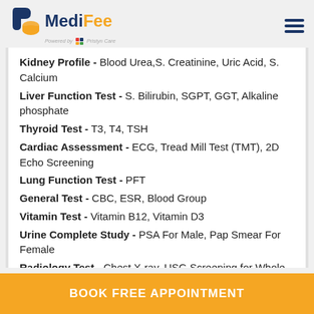MediFee - Powered by Pristyn Care
Kidney Profile - Blood Urea, S. Creatinine, Uric Acid, S. Calcium
Liver Function Test - S. Bilirubin, SGPT, GGT, Alkaline phosphate
Thyroid Test - T3, T4, TSH
Cardiac Assessment - ECG, Tread Mill Test (TMT), 2D Echo Screening
Lung Function Test - PFT
General Test - CBC, ESR, Blood Group
Vitamin Test - Vitamin B12, Vitamin D3
Urine Complete Study - PSA For Male, Pap Smear For Female
Radiology Test - Chest X-ray, USG Screening for Whole Abdomen
Consultation - Physician, Orthopedic surgeon, Surgeon
BOOK FREE APPOINTMENT